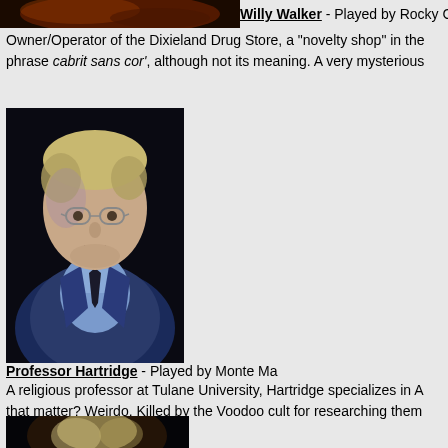[Figure (illustration): Partial portrait image at top of page, cropped]
Willy Walker - Played by Rocky Ca...
Owner/Operator of the Dixieland Drug Store, a "novelty shop" in the... phrase cabrit sans cor', although not its meaning. A very mysterious...
[Figure (illustration): Painted portrait of Professor Hartridge - a man with glasses, blonde/grey hair, wearing a blue suit and dark tie, against a black background]
Professor Hartridge - Played by Monte Ma...
A religious professor at Tulane University, Hartridge specializes in A... that matter? Weirdo. Killed by the Voodoo cult for researching them...
[Figure (illustration): Partial portrait image at bottom of page, cropped - person with light hair]